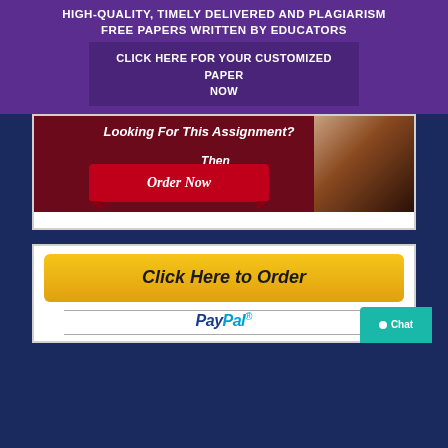HIGH-QUALITY, TIMELY DELIVERED AND PLAGIARISM FREE PAPERS WRITTEN BY EDUCATORS
CLICK HERE FOR YOUR CUSTOMIZED PAPER NOW
[Figure (infographic): Banner with dark red background showing 'Looking For This Assignment? Then Order Now' with a red ribbon and a woman pointing, alongside a CTA.]
[Figure (infographic): Yellow 'Click Here to Order' button above a PayPal payment logo with horizontal rules, and a teal Chat button in the bottom right corner.]